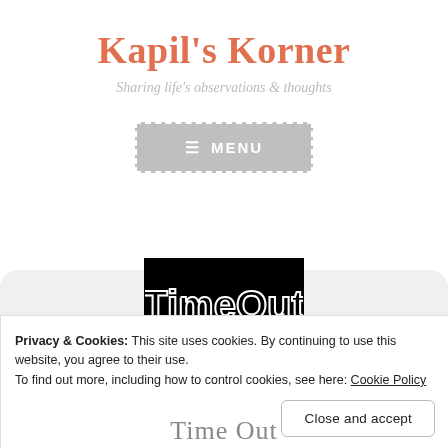Kapil's Korner
Sharing life's observations & thoughts
[Figure (screenshot): Gray button with dashed white border showing hamburger icon and MENU text]
[Figure (logo): TimeOut logo in white on black background]
Privacy & Cookies: This site uses cookies. By continuing to use this website, you agree to their use.
To find out more, including how to control cookies, see here: Cookie Policy
Close and accept
Time Out